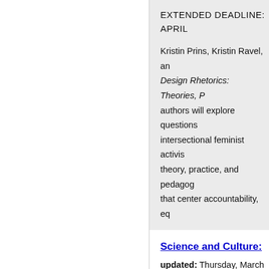EXTENDED DEADLINE: APRIL
Kristin Prins, Kristin Ravel, an Design Rhetorics: Theories, P authors will explore questions intersectional feminist activis theory, practice, and pedagog that center accountability, eq
Science and Culture:
updated: Thursday, March 3
Pacific Ancient and Modern La
deadline for submiss
Papers are sought from any p investigate the way that scie within society more broadly o